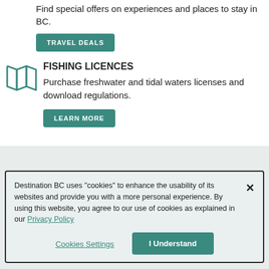Find special offers on experiences and places to stay in BC.
TRAVEL DEALS
[Figure (illustration): Teal map/fold icon representing fishing or navigation]
FISHING LICENCES
Purchase freshwater and tidal waters licenses and download regulations.
LEARN MORE
Destination BC uses "cookies" to enhance the usability of its websites and provide you with a more personal experience. By using this website, you agree to our use of cookies as explained in our Privacy Policy
Cookies Settings
I Understand